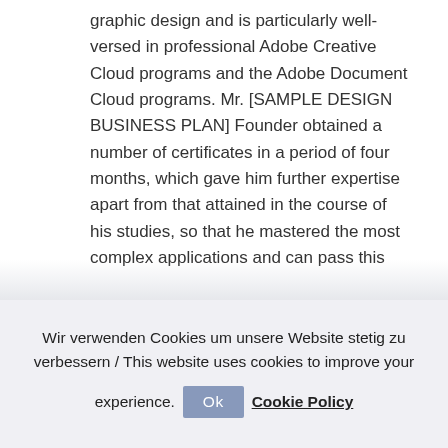graphic design and is particularly well-versed in professional Adobe Creative Cloud programs and the Adobe Document Cloud programs. Mr. [SAMPLE DESIGN BUSINESS PLAN] Founder obtained a number of certificates in a period of four months, which gave him further expertise apart from that attained in the course of his studies, so that he mastered the most complex applications and can pass this
Wir verwenden Cookies um unsere Website stetig zu verbessern / This website uses cookies to improve your experience. Ok Cookie Policy